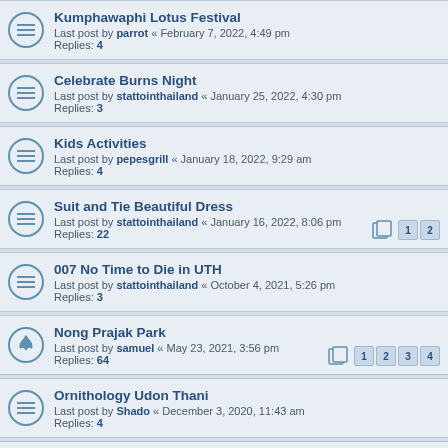Kumphawaphi Lotus Festival — Last post by parrot « February 7, 2022, 4:49 pm — Replies: 4
Celebrate Burns Night — Last post by stattointhailand « January 25, 2022, 4:30 pm — Replies: 3
Kids Activities — Last post by pepesgrill « January 18, 2022, 9:29 am — Replies: 4
Suit and Tie Beautiful Dress — Last post by stattointhailand « January 16, 2022, 8:06 pm — Replies: 22 — Pages: 1 2
007 No Time to Die in UTH — Last post by stattointhailand « October 4, 2021, 5:26 pm — Replies: 3
Nong Prajak Park — Last post by samuel « May 23, 2021, 3:56 pm — Replies: 64 — Pages: 1 2 3 4
Ornithology Udon Thani — Last post by Shado « December 3, 2020, 11:43 am — Replies: 4
Movies in English Now Showing — Last post by joepai « October 24, 2020, 3:19 pm — Replies: 31 — Pages: 1 2
Ping pong/table tennis — Last post by rct « October 6, 2020, 6:39 am